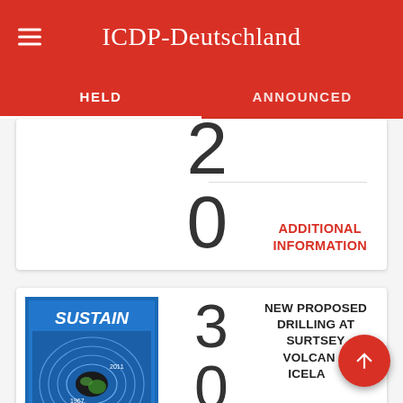ICDP-Deutschland
HELD    ANNOUNCED
2014
ADDITIONAL INFORMATION
[Figure (illustration): SUSTAIN - SURTSEY AT 50 YEARS logo with volcanic island contour map in blue frame]
30 Sept
NEW PROPOSED DRILLING AT SURTSEY VOLCANO, ICELAND
Status: held
Surtsey Underwater volcanic...